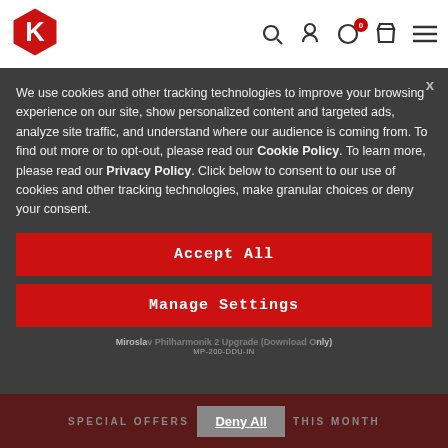[Figure (logo): IK Multimedia red hexagon logo with white K letter inside]
Miroslav Philharmonik 2 Upgrade (Download Only)
MP-200-2015DBU-IN
We use cookies and other tracking technologies to improve your browsing experience on our site, show personalized content and targeted ads, analyze site traffic, and understand where our audience is coming from. To find out more or to opt-out, please read our Cookie Policy. To learn more, please read our Privacy Policy. Click below to consent to our use of cookies and other tracking technologies, make granular choices or deny your consent.
Accept All
Manage Settings
Miroslav Philharmonik 2 Upgrade (Download Only)
MP-200-DDU-IN
SPECIAL OFFERS
Deny All
THIS MONTH